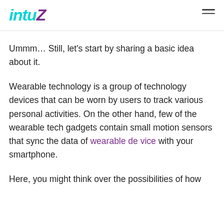intuz
Ummm… Still, let's start by sharing a basic idea about it.
Wearable technology is a group of technology devices that can be worn by users to track various personal activities. On the other hand, few of the wearable tech gadgets contain small motion sensors that sync the data of wearable device with your smartphone.
Here, you might think over the possibilities of how wearable technology can grow.